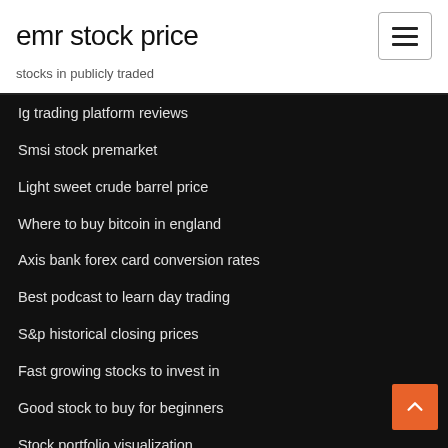emr stock price
stocks in publicly traded
Ig trading platform reviews
Smsi stock premarket
Light sweet crude barrel price
Where to buy bitcoin in england
Axis bank forex card conversion rates
Best podcast to learn day trading
S&p historical closing prices
Fast growing stocks to invest in
Good stock to buy for beginners
Stock portfolio visualization